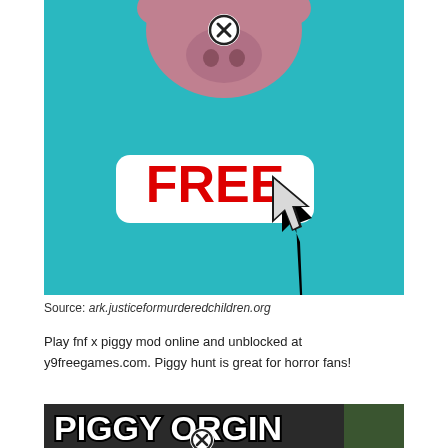[Figure (screenshot): Game advertisement screenshot showing a pink pig character on a teal background with a white rounded rectangle button containing bold red 'FREE' text and a mouse cursor arrow pointing at it, with an X close button at top]
Source: ark.justiceformurderedchildren.org
Play fnf x piggy mod online and unblocked at y9freegames.com. Piggy hunt is great for horror fans!
[Figure (screenshot): Bottom portion of a game image showing 'PIGGY ORGIN' text in large white font with black outline on a dark background, with an X close button visible]